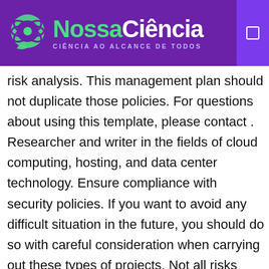NossaCiência — CIÊNCIA AO ALCANCE DE TODOS
risk analysis. This management plan should not duplicate those policies. For questions about using this template, please contact . Researcher and writer in the fields of cloud computing, hosting, and data center technology. Ensure compliance with security policies. If you want to avoid any difficult situation in the future, you should do so with careful consideration when carrying out these types of projects. Not all risks identified in risk assessment will be resolved in risk treatment. Conducting a complete IT security assessment and managing enterprise risk is essential to identify vulnerability issues. of Commerce National Institute of Standards and Technology (NIST). Information technology risk is the potential for technology shortfalls to result in losses. Security Programs Division . Actions taken to remediate vulnerabilities through multiple approaches: Developing an